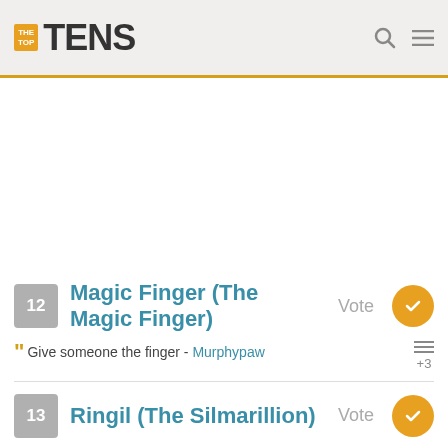THE TOP TENS
12 Magic Finger (The Magic Finger) Vote
Give someone the finger - Murphypaw +3
13 Ringil (The Silmarillion) Vote